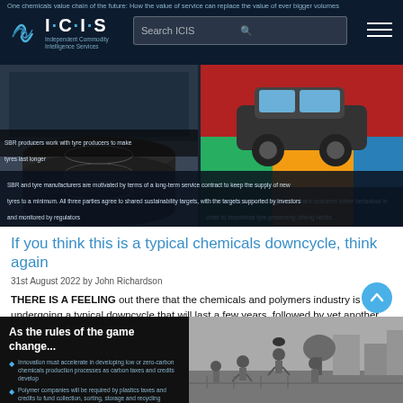One chemicals value chain of the future: How the value of service can replace the value of ever bigger volumes
[Figure (screenshot): ICIS website header with logo, search bar, and hamburger menu on dark navy background]
[Figure (photo): Left panel: SBR tyre stacks; right panel: car on coloured road surface. Captions about SBR producers working with tyre producers, car hire companies using big data, and SBR/tyre manufacturer service contracts.]
SBR producers work with tyre producers to make tyres last longer
Car Hire companies use big data to track customer driver behaviour in order to incentivise tyre-preserving driving habits
SBR and tyre manufacturers are motivated by terms of a long-term service contract to keep the supply of new tyres to a minimum. All three parties agree to shared sustainability targets, with the targets supported by investors and monitored by regulators
If you think this is a typical chemicals downcycle, think again
31st August 2022 by John Richardson
THERE IS A FEELING out there that the chemicals and polymers industry is undergoing a typical downcycle that will last a few years, followed by yet another spectacular fly-up in margins. But I believe a great deal more is happening beyond the usual...
[Figure (screenshot): Dark card: 'As the rules of the game change...' with bullet points about innovation in chemicals and polymer company requirements, alongside a vintage illustration of people playing football]
Innovation must accelerate in developing low or zero-carbon chemicals production processes as carbon taxes and credits develop
Polymer companies will be required by plastics taxes and credits to fund collection, sorting, storage and recycling systems for plastic waste in the developing world